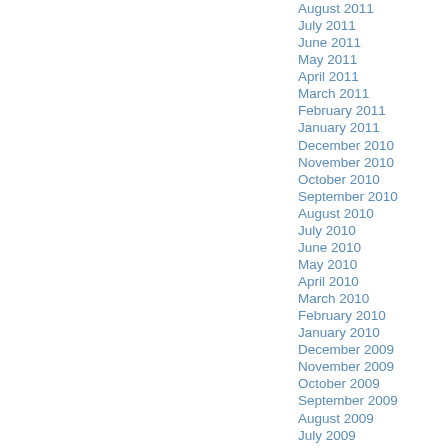August 2011
July 2011
June 2011
May 2011
April 2011
March 2011
February 2011
January 2011
December 2010
November 2010
October 2010
September 2010
August 2010
July 2010
June 2010
May 2010
April 2010
March 2010
February 2010
January 2010
December 2009
November 2009
October 2009
September 2009
August 2009
July 2009
June 2009
May 2009
April 2009
March 2009
February 2009
January 2009
December 2009